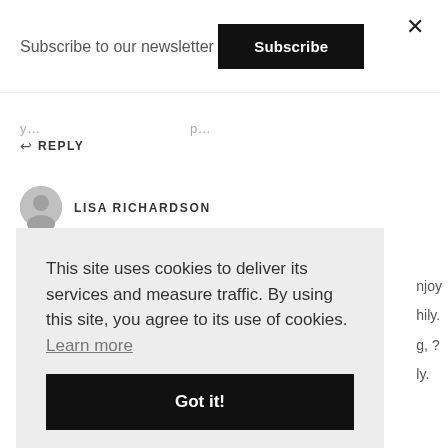Subscribe to our newsletter
Subscribe
REPLY
LISA RICHARDSON
This site uses cookies to deliver its services and measure traffic. By using this site, you agree to its use of cookies.  Learn more
Got it!
njoy
hily.
g, ?
ly.
REPLY